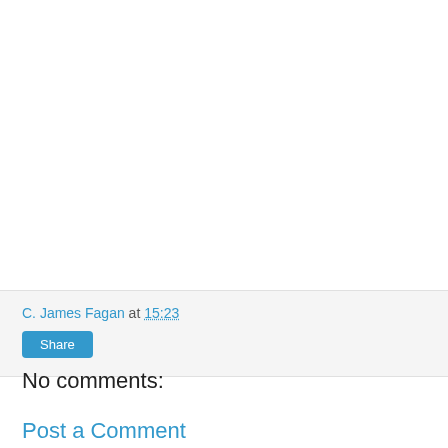C. James Fagan at 15:23
Share
No comments:
Post a Comment